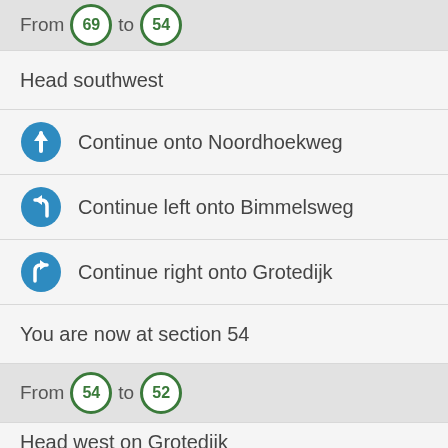From 69 to 54
Head southwest
Continue onto Noordhoekweg
Continue left onto Bimmelsweg
Continue right onto Grotedijk
You are now at section 54
From 54 to 52
Head west on Grotedijk